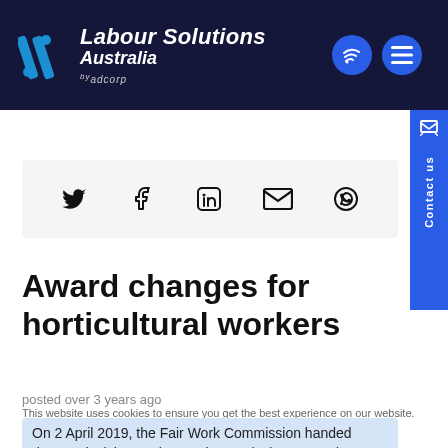Labour Solutions Australia by adcorp
[Figure (other): Share buttons bar with Twitter, Facebook, LinkedIn, Email, WhatsApp icons]
Award changes for horticultural workers
posted over 3 years ago
This website uses cookies to ensure you get the best experience on our website. More
On 2 April 2019, the Fair Work Commission handed down a decision to change the Horticulture Award